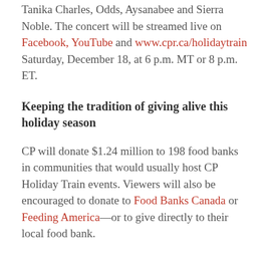Tanika Charles, Odds, Aysanabee and Sierra Noble. The concert will be streamed live on Facebook, YouTube and www.cpr.ca/holidytrain Saturday, December 18, at 6 p.m. MT or 8 p.m. ET.
Keeping the tradition of giving alive this holiday season
CP will donate $1.24 million to 198 food banks in communities that would usually host CP Holiday Train events. Viewers will also be encouraged to donate to Food Banks Canada or Feeding America—or to give directly to their local food bank.